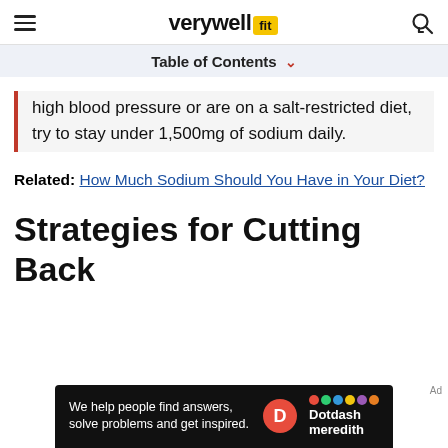verywell fit
Table of Contents
high blood pressure or are on a salt-restricted diet, try to stay under 1,500mg of sodium daily.
Related: How Much Sodium Should You Have in Your Diet?
Strategies for Cutting Back
[Figure (screenshot): Dotdash Meredith advertisement banner: 'We help people find answers, solve problems and get inspired.']